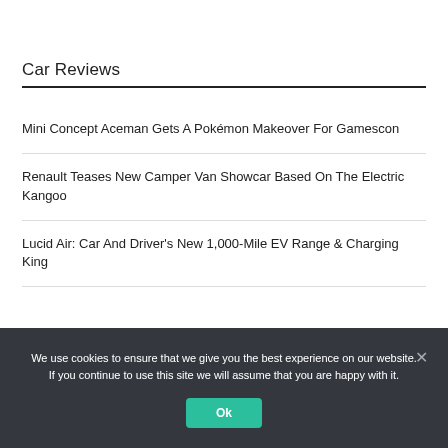Car Reviews
Mini Concept Aceman Gets A Pokémon Makeover For Gamescon
Renault Teases New Camper Van Showcar Based On The Electric Kangoo
Lucid Air: Car And Driver's New 1,000-Mile EV Range & Charging King
We use cookies to ensure that we give you the best experience on our website. If you continue to use this site we will assume that you are happy with it.